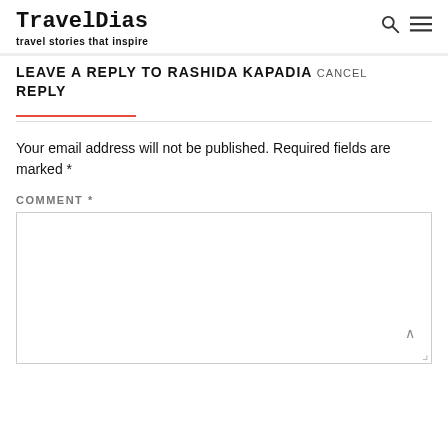TravelDias
travel stories that inspire
LEAVE A REPLY TO RASHIDA KAPADIA CANCEL REPLY
Your email address will not be published. Required fields are marked *
COMMENT *